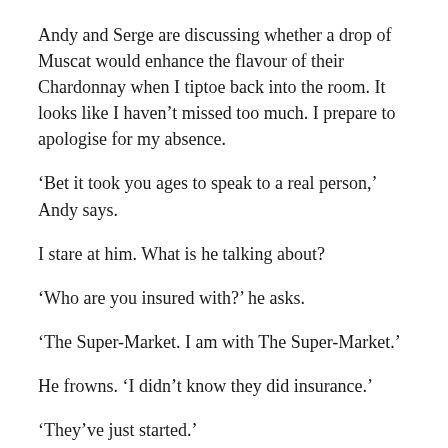Andy and Serge are discussing whether a drop of Muscat would enhance the flavour of their Chardonnay when I tiptoe back into the room. It looks like I haven't missed too much. I prepare to apologise for my absence.
‘Bet it took you ages to speak to a real person,’ Andy says.
I stare at him. What is he talking about?
‘Who are you insured with?’ he asks.
‘The Super-Market. I am with The Super-Market.’
He frowns. ‘I didn’t know they did insurance.’
‘They’ve just started.’
‘Are they any good?’